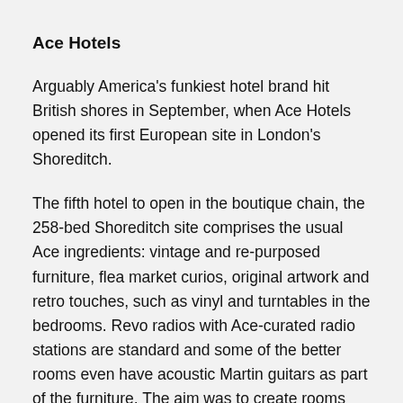Ace Hotels
Arguably America’s funkiest hotel brand hit British shores in September, when Ace Hotels opened its first European site in London’s Shoreditch.
The fifth hotel to open in the boutique chain, the 258-bed Shoreditch site comprises the usual Ace ingredients: vintage and re-purposed furniture, flea market curios, original artwork and retro touches, such as vinyl and turntables in the bedrooms. Revo radios with Ace-curated radio stations are standard and some of the better rooms even have acoustic Martin guitars as part of the furniture. The aim was to create rooms that feel like a friend’s Shoreditch